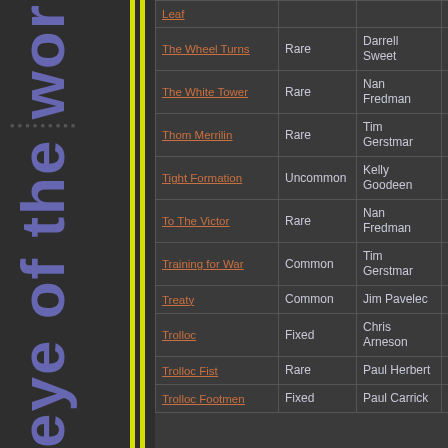| Card Name | Rarity | Artist | Type |
| --- | --- | --- | --- |
| Leaf |  |  |  |
| The Wheel Turns | Rare | Darrell Sweet | Event |
| The White Tower | Rare | Nan Fredman | Advantage |
| Thom Merrilin | Rare | Tim Gerstmar | Character |
| Tight Formation | Uncommon | Kelly Goodeen | Advantage |
| To The Victor | Rare | Nan Fredman | Advantage |
| Training for War | Common | Tim Gerstmar | Advantage |
| Treaty | Common | Jim Pavelec | Challenge |
| Trolloc | Fixed | Chris Arneson | Character |
| Trolloc Fist | Rare | Paul Herbert | Troop |
| Trolloc Footmen | Fixed | Paul Carrick | Troop |